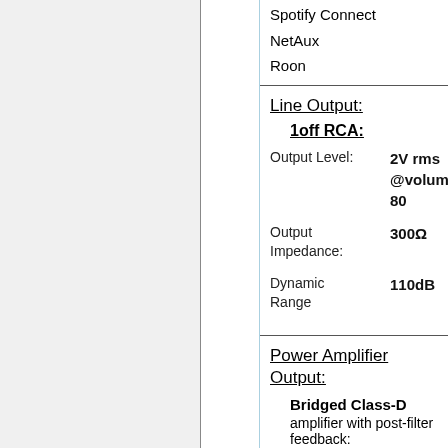Spotify Connect
NetAux
Roon
|  | Line Output: |
|  | 1off RCA: |
| Output Level: | 2V rms @volume 80 |
| Output Impedance: | 300Ω |
| Dynamic Range | 110dB |
Power Amplifier Output:
Bridged Class-D amplifier with post-filter feedback: